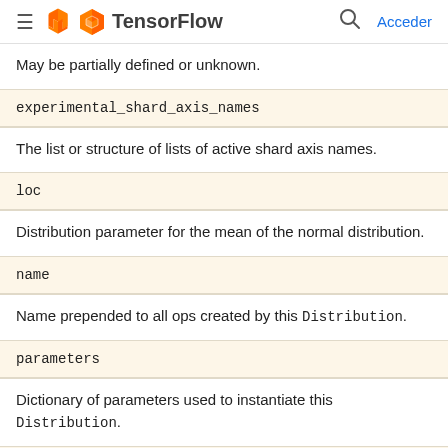TensorFlow — Acceder
May be partially defined or unknown.
experimental_shard_axis_names
The list or structure of lists of active shard axis names.
loc
Distribution parameter for the mean of the normal distribution.
name
Name prepended to all ops created by this Distribution.
parameters
Dictionary of parameters used to instantiate this Distribution.
rate
Distribution parameter for rate parameter of exponential